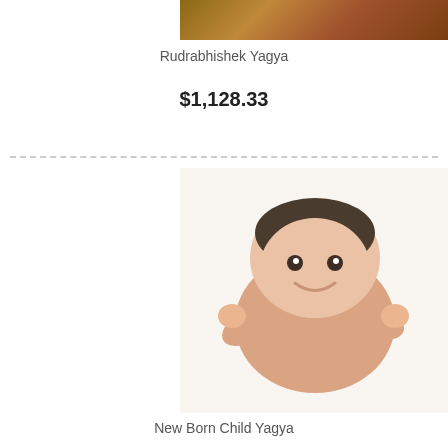[Figure (photo): Partial view of a colorful religious/ceremonial image at the top of the page, cropped]
Rudrabhishek Yagya
$1,128.33
[Figure (photo): A newborn baby smiling, lying on a white fluffy blanket/fur rug, photographed from above]
New Born Child Yagya